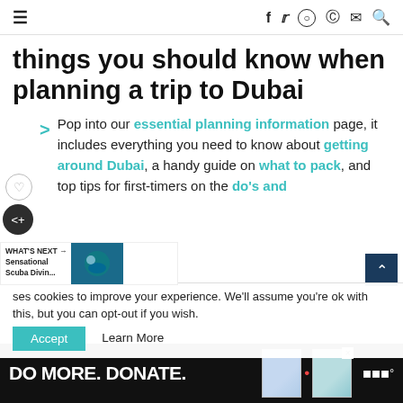≡  f  𝕏  ○  ⊕  ✉  🔍
things you should know when planning a trip to Dubai
Pop into our essential planning information page, it includes everything you need to know about getting around Dubai, a handy guide on what to pack, and top tips for first-timers on the do's and
WHAT'S NEXT → Sensational Scuba Divin...
ses cookies to improve your experience. We'll assume you're ok with this, but you can opt-out if you wish.
Accept   Learn More
DO MORE. DONATE.